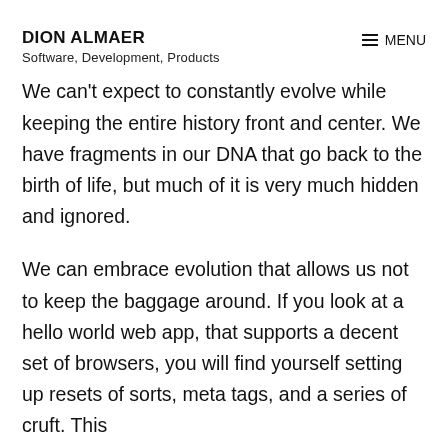DION ALMAER
Software, Development, Products
We can't expect to constantly evolve while keeping the entire history front and center. We have fragments in our DNA that go back to the birth of life, but much of it is very much hidden and ignored.
We can embrace evolution that allows us not to keep the baggage around. If you look at a hello world web app, that supports a decent set of browsers, you will find yourself setting up resets of sorts, meta tags, and a series of cruft. This